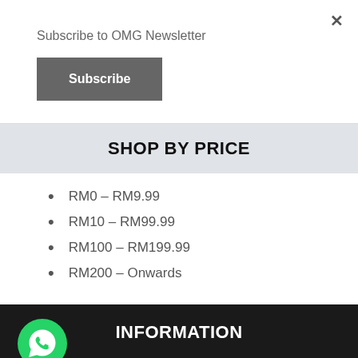Subscribe to OMG Newsletter
Subscribe
SHOP BY PRICE
RM0 – RM9.99
RM10 – RM99.99
RM100 – RM199.99
RM200 – Onwards
INFORMATION
About Us
FAQ
Terms & Conditions